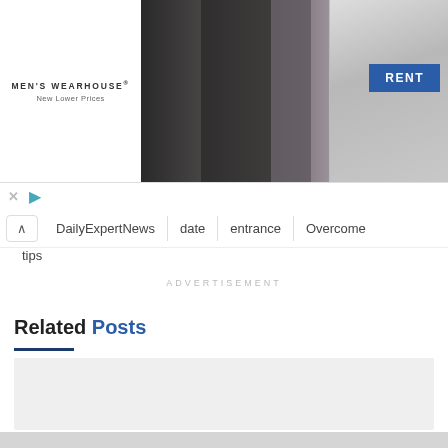[Figure (photo): Men's Wearhouse advertisement banner with a couple in formal wear (man in dark suit, woman in light dress) and a solo male model in a suit. Includes a blue RENT button.]
^ DailyExpertNews | date | entrance | Overcome
tips
ADVERTISEMENT
Related Posts
[Figure (other): Gray placeholder card for a related post image]